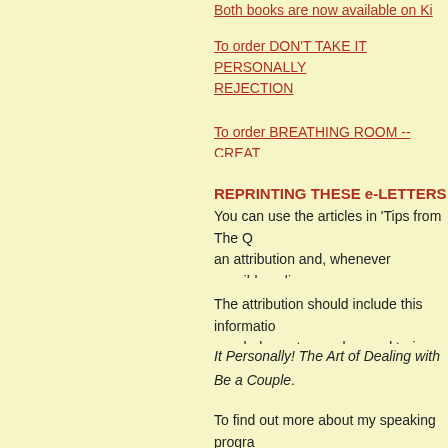Both books are now available on Ki...
To order DON'T TAKE IT PERSONALLY... REJECTION
To order BREATHING ROOM -- CREAT...
REPRINTING THESE e-LETTERS
You can use the articles in 'Tips from The Q... an attribution and, whenever possible, a live... notify me where and when the material will a...
The attribution should include this informatio... coach, keynote speaker, and trainer, practici...
It Personally! The Art of Dealing with Reject...
Be a Couple.
To find out more about my speaking progra... services visit: /www.QueenofRejection.com can benefit.